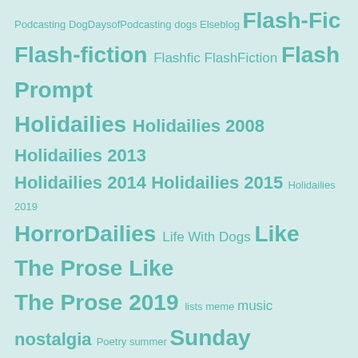Podcasting DogDaysofPodcasting dogs Elseblog Flash-Fic Flash-fiction Flashfic FlashFiction Flash Prompt Holidailies Holidailies 2008 Holidailies 2013 Holidailies 2014 Holidailies 2015 Holidailies 2019 HorrorDailies Life With Dogs Like The Prose Like The Prose 2019 lists meme music nostalgia Poetry summer Sunday Brunch Thematic Photographic Thursday 13 Thursday Thirteen weather writing
CATEGORICALLY
2018 (28)
2019 (31)
2019 (27)
2020 (9)